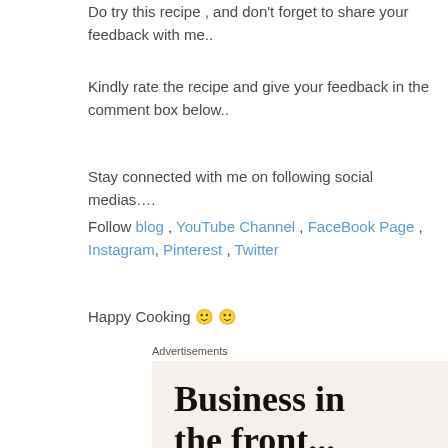Do try this recipe , and don't forget to share your feedback with me..
Kindly rate the recipe and give your feedback in the comment box below..
Stay connected with me on following social medias….
Follow blog , YouTube Channel , FaceBook Page , Instagram, Pinterest , Twitter
Happy Cooking 🙂 🙂
[Figure (screenshot): Advertisement banner showing 'Business in the front...' text on a light beige background, and a WordPress logo section on a gradient orange-pink background below.]